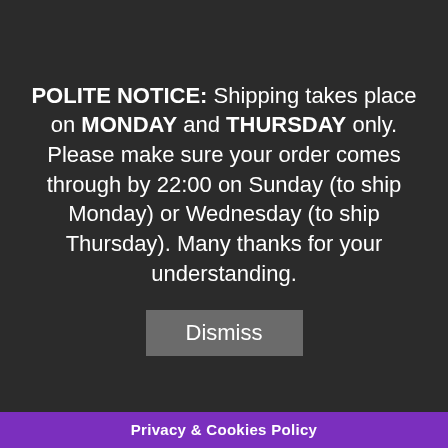POLITE NOTICE: Shipping takes place on MONDAY and THURSDAY only. Please make sure your order comes through by 22:00 on Sunday (to ship Monday) or Wednesday (to ship Thursday). Many thanks for your understanding.
Dismiss
site feature.
– To send users information they agreed to receive about topics we think will be of interest to them.
– To send periodic emails and newsletters.
Controlling Information
The email address users provide for order processing, will only be used to send them information and updates pertaining to their orde respond to their inquiries, and (o tions. If
Privacy & Cookies Policy